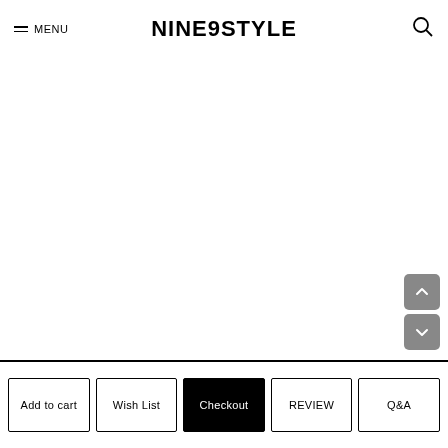MENU | NINE9STYLE | [search icon]
[Figure (other): Large empty white content area - product image area (blank/loading)]
Add to cart | Wish List | Checkout | REVIEW | Q&A